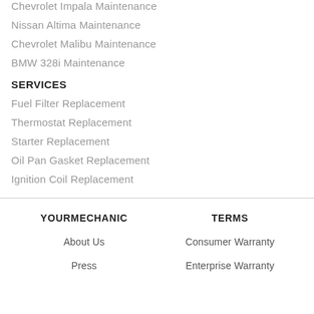Chevrolet Impala Maintenance
Nissan Altima Maintenance
Chevrolet Malibu Maintenance
BMW 328i Maintenance
SERVICES
Fuel Filter Replacement
Thermostat Replacement
Starter Replacement
Oil Pan Gasket Replacement
Ignition Coil Replacement
YOURMECHANIC | About Us | Press | TERMS | Consumer Warranty | Enterprise Warranty